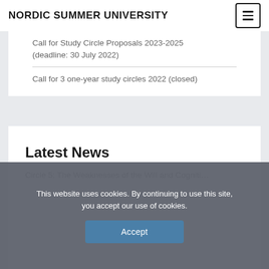NORDIC SUMMER UNIVERSITY
Call for Study Circle Proposals 2023-2025 (deadline: 30 July 2022)
Call for 3 one-year study circles 2022 (closed)
Latest News
Circle 5: The Weaknesses of the Will and Cognitive...
This website uses cookies. By continuing to use this site, you accept our use of cookies.